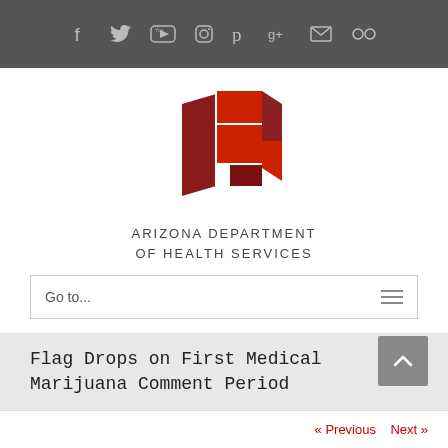[Figure (other): Social media icons bar with Facebook, Twitter, YouTube, Instagram, Pinterest, Google+, Email, Flickr icons on dark grey background]
[Figure (logo): Arizona Department of Health Services logo - geometric red squares/rectangles forming an abstract flag shape, with text ARIZONA DEPARTMENT OF HEALTH SERVICES below]
Go to...
Flag Drops on First Medical Marijuana Comment Period
« Previous   Next »